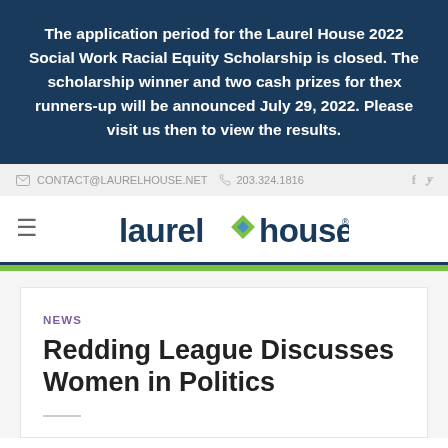The application period for the Laurel House 2022 Social Work Racial Equity Scholarship is closed. The scholarship winner and two cash prizes for the runners-up will be announced July 29, 2022. Please visit us then to view the results.
CONTACT@LAURELHOUSE.NET  203.324.1816
[Figure (logo): Laurel House logo with diamond/leaf icon between 'laurel' and 'house.' text in dark navy blue]
NEWS
Redding League Discusses Women in Politics